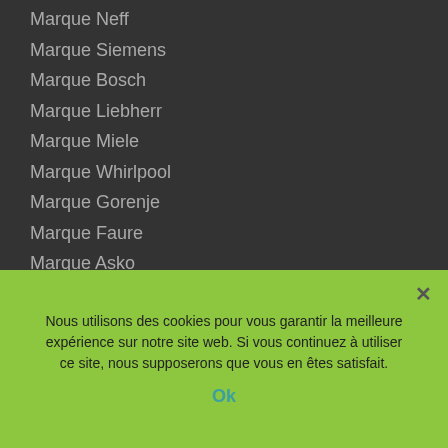Marque Neff
Marque Siemens
Marque Bosch
Marque Liebherr
Marque Miele
Marque Whirlpool
Marque Gorenje
Marque Faure
Marque Asko
Marque Arthur Martin
Marque Amica
Marque Ikea
Marque Silvercrest
Climatiseur climadiff 25r
Nous utilisons des cookies pour vous garantir la meilleure expérience sur notre site web. Si vous continuez à utiliser ce site, nous supposerons que vous en êtes satisfait.
Ok